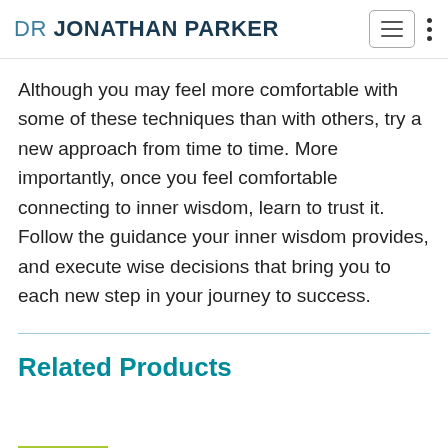DR JONATHAN PARKER
Although you may feel more comfortable with some of these techniques than with others, try a new approach from time to time. More importantly, once you feel comfortable connecting to inner wisdom, learn to trust it. Follow the guidance your inner wisdom provides, and execute wise decisions that bring you to each new step in your journey to success.
Related Products